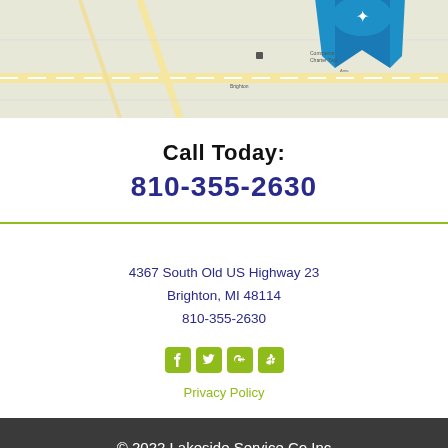[Figure (map): Partial map screenshot with a blue ribbon/award badge icon overlay in the upper center-right area]
Call Today:
810-355-2630
4367 South Old US Highway 23
Brighton, MI 48114
810-355-2630
[Figure (infographic): Row of 4 green social media icons: Facebook, Twitter, Google+, Yelp]
Privacy Policy
© 2022 Lakeside Service Co Inc
mts360